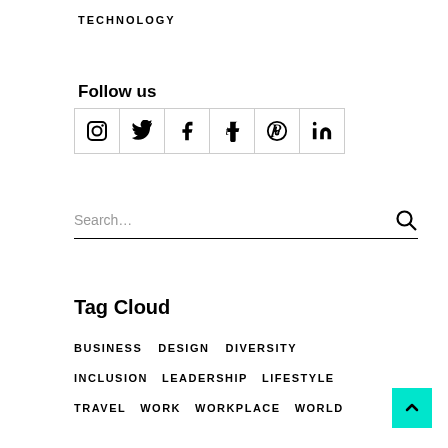TECHNOLOGY
Follow us
[Figure (other): Social media icons grid: Instagram, Twitter, Facebook, Tumblr, Pinterest, LinkedIn]
[Figure (other): Search bar with search icon]
Tag Cloud
BUSINESS
DESIGN
DIVERSITY
INCLUSION
LEADERSHIP
LIFESTYLE
TRAVEL
WORK
WORKPLACE
WORLD